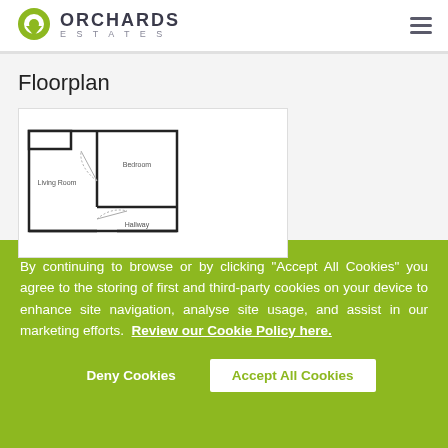ORCHARDS ESTATES
Floorplan
[Figure (engineering-diagram): Floorplan diagram showing Living Room, Bedroom, and Hallway rooms with door swing indicators]
By continuing to browse or by clicking "Accept All Cookies" you agree to the storing of first and third-party cookies on your device to enhance site navigation, analyse site usage, and assist in our marketing efforts. Review our Cookie Policy here.
Deny Cookies   Accept All Cookies